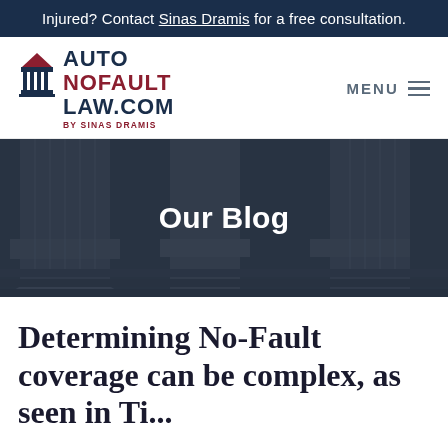Injured? Contact Sinas Dramis for a free consultation.
[Figure (logo): Auto No-Fault Law.com by Sinas Dramis logo with temple/courthouse icon]
Our Blog
Determining No-Fault coverage can be complex, as seen in Ti...